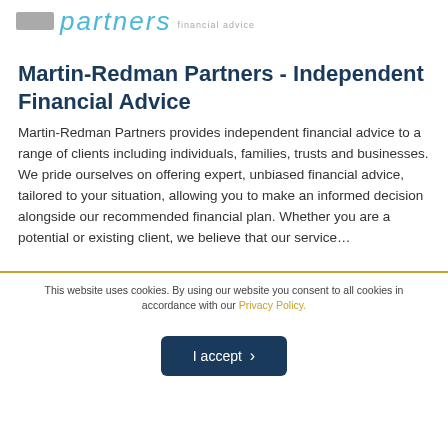partners financial advice
Martin-Redman Partners - Independent Financial Advice
Martin-Redman Partners provides independent financial advice to a range of clients including individuals, families, trusts and businesses. We pride ourselves on offering expert, unbiased financial advice, tailored to your situation, allowing you to make an informed decision alongside our recommended financial plan. Whether you are a potential or existing client, we believe that our service...
This website uses cookies. By using our website you consent to all cookies in accordance with our Privacy Policy.
I accept